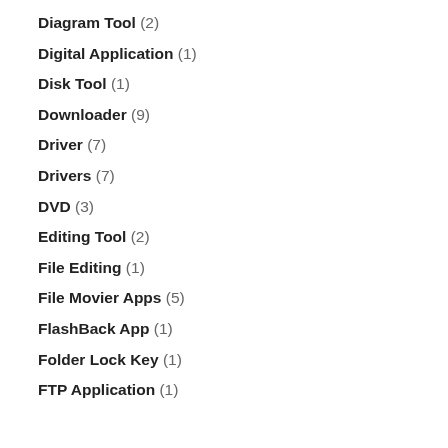Diagram Tool (2)
Digital Application (1)
Disk Tool (1)
Downloader (9)
Driver (7)
Drivers (7)
DVD (3)
Editing Tool (2)
File Editing (1)
File Movier Apps (5)
FlashBack App (1)
Folder Lock Key (1)
FTP Application (1)